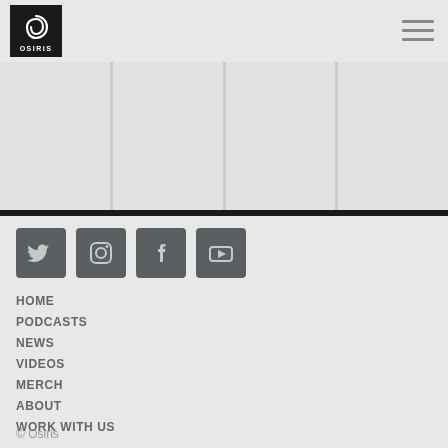[Figure (logo): Osiris logo — circular spiral symbol above text OSIRIS on black background]
[Figure (other): Hamburger menu icon (three horizontal lines)]
[Figure (photo): Four-column image grid area with light grey panels separated by vertical dividers]
[Figure (other): Four social media icon buttons: Twitter, Instagram, Facebook, YouTube — dark grey square buttons]
HOME
PODCASTS
NEWS
VIDEOS
MERCH
ABOUT
WORK WITH US
© Osiris